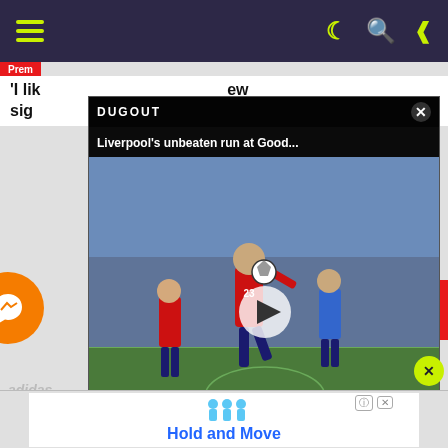Navigation bar with hamburger menu and icons
'I lik... ew sig...
[Figure (screenshot): Liverpool's unbeaten run at Good... video overlay from Dugout with a close button X. Shows Liverpool (red) players vs opponents on a soccer field. Play button visible. Watermark: 'A run of 19 games UNBEATEN across all competitions']
Opinion/Features
[Figure (screenshot): Hold and Move advertisement banner with blue figures and X close button]